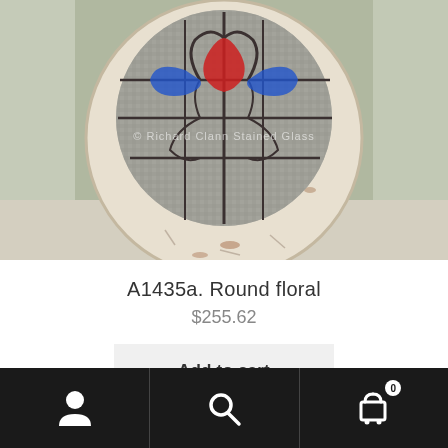[Figure (photo): Photograph of a round antique stained glass window with a white painted wooden frame, featuring a floral design with red tulip and blue leaves against textured clear glass, placed outdoors on a pavement. Watermark reads '© Richard Clann Stained Glass'.]
A1435a. Round floral
$255.62
Add to cart